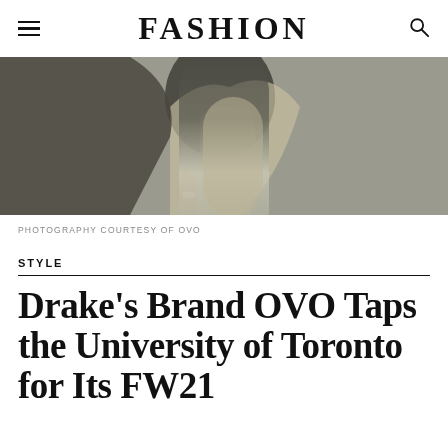FASHION
[Figure (photo): Close-up fashion photo of a person wearing beige/tan draped clothing against a dark background, showing torso and hand with rings]
PHOTOGRAPHY COURTESY OF OVO
STYLE
Drake's Brand OVO Taps the University of Toronto for Its FW21